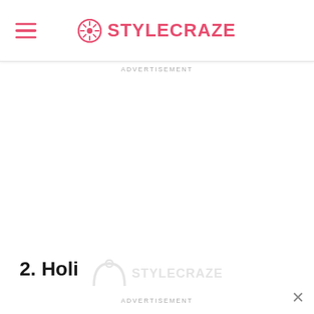STYLECRAZE
ADVERTISEMENT
2. Holi
[Figure (logo): StyleCraze watermark logo with dandelion icon, faded gray]
ADVERTISEMENT